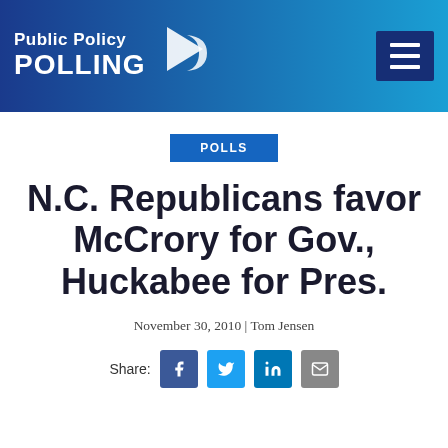Public Policy POLLING
POLLS
N.C. Republicans favor McCrory for Gov., Huckabee for Pres.
November 30, 2010 | Tom Jensen
Share: